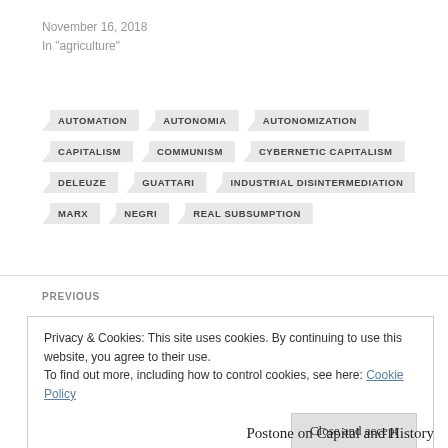November 16, 2018
In "agriculture"
AUTOMATION
AUTONOMIA
AUTONOMIZATION
CAPITALISM
COMMUNISM
CYBERNETIC CAPITALISM
DELEUZE
GUATTARI
INDUSTRIAL DISINTERMEDIATION
MARX
NEGRI
REAL SUBSUMPTION
PREVIOUS
Privacy & Cookies: This site uses cookies. By continuing to use this website, you agree to their use.
To find out more, including how to control cookies, see here: Cookie Policy
Close and accept
Postone on Capital and History